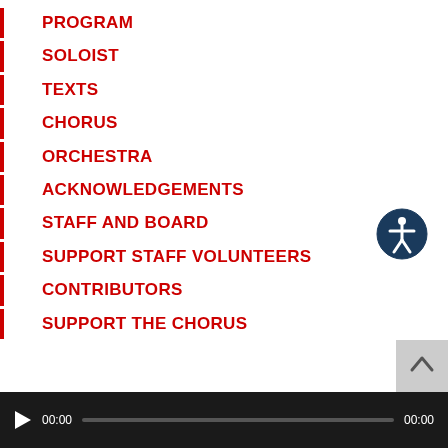PROGRAM
SOLOIST
TEXTS
CHORUS
ORCHESTRA
ACKNOWLEDGEMENTS
STAFF AND BOARD
SUPPORT STAFF VOLUNTEERS
CONTRIBUTORS
SUPPORT THE CHORUS
[Figure (illustration): Accessibility icon: dark navy blue circle with white stick figure person inside, arms extended]
[Figure (illustration): Scroll to top button: light gray square with upward-pointing chevron/caret arrow]
[Figure (other): Media player bar: dark background with play button, time display 00:00, progress bar, and end time 00:00]